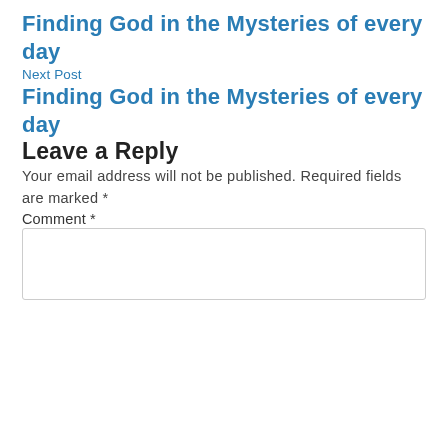Finding God in the Mysteries of every day
Next Post
Finding God in the Mysteries of every day
Leave a Reply
Your email address will not be published. Required fields are marked *
Comment *